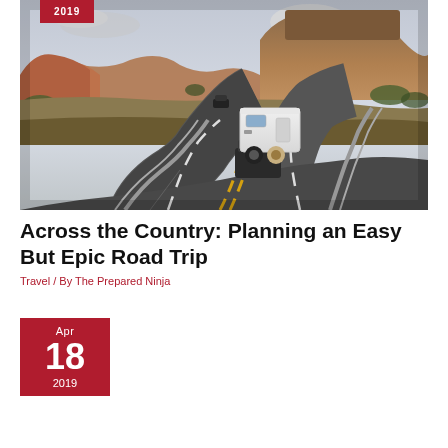[Figure (photo): A white RV/camper trailer being towed on a winding desert highway with red rock buttes and canyon scenery in the background, cloudy sky above.]
Across the Country: Planning an Easy But Epic Road Trip
Travel / By The Prepared Ninja
Apr
18
2019